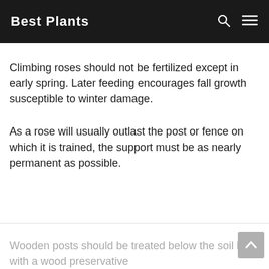Best Plants
Climbing roses should not be fertilized except in early spring. Later feeding encourages fall growth susceptible to winter damage.
As a rose will usually outlast the post or fence on which it is trained, the support must be as nearly permanent as possible.
Wooden posts should be treated below the soil level with a wood preservative